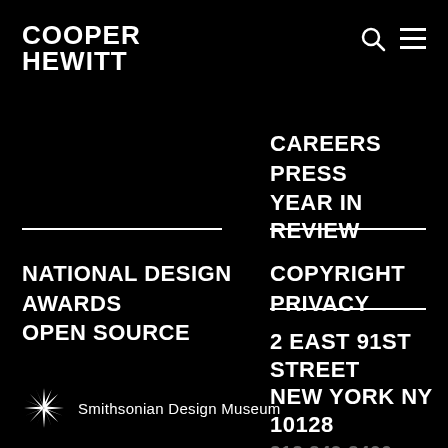COOPER HEWITT
CAREERS
PRESS
YEAR IN REVIEW
NATIONAL DESIGN AWARDS
OPEN SOURCE
COPYRIGHT
PRIVACY
2 EAST 91ST STREET
NEW YORK NY 10128
212.849.8400
Smithsonian Design Museum